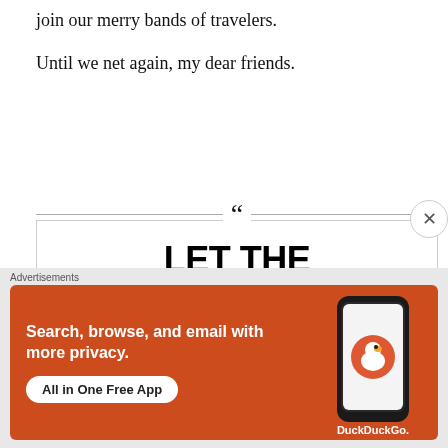join our merry bands of travelers.
Until we net again, my dear friends.
[Figure (other): Pull quote box with large bold text reading: LET THE ANGRY WORD BE ANSWERED ONLY WITH A KISS.]
[Figure (other): DuckDuckGo advertisement banner on orange background: Search, browse, and email with more privacy. All in One Free App. DuckDuckGo logo with duck icon.]